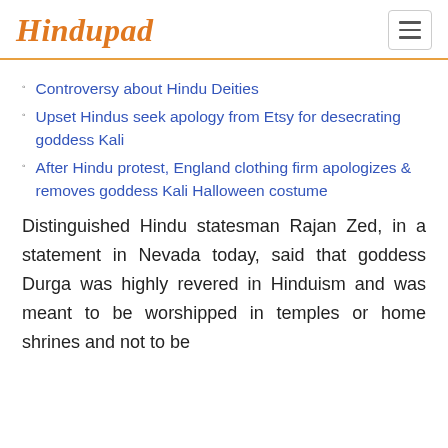Hindupad
Controversy about Hindu Deities
Upset Hindus seek apology from Etsy for desecrating goddess Kali
After Hindu protest, England clothing firm apologizes & removes goddess Kali Halloween costume
Distinguished Hindu statesman Rajan Zed, in a statement in Nevada today, said that goddess Durga was highly revered in Hinduism and was meant to be worshipped in temples or home shrines and not to be